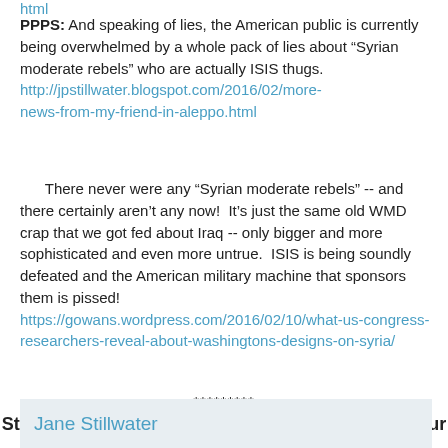html
PPPS:  And speaking of lies, the American public is currently being overwhelmed by a whole pack of lies about "Syrian moderate rebels" who are actually ISIS thugs.   http://jpstillwater.blogspot.com/2016/02/more-news-from-my-friend-in-aleppo.html
There never were any "Syrian moderate rebels" -- and there certainly aren't any now!  It's just the same old WMD crap that we got fed about Iraq -- only bigger and more sophisticated and even more untrue.  ISIS is being soundly defeated and the American military machine that sponsors them is pissed!   https://gowans.wordpress.com/2016/02/10/what-us-congress-researchers-reveal-about-washingtons-designs-on-syria/
*********
Stop Wall Street and War Street from destroying our world.
Jane Stillwater